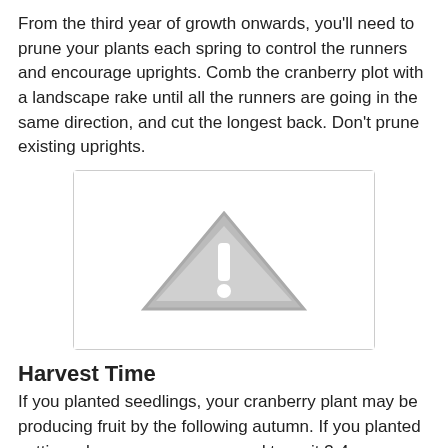From the third year of growth onwards, you'll need to prune your plants each spring to control the runners and encourage uprights. Comb the cranberry plot with a landscape rake until all the runners are going in the same direction, and cut the longest back. Don't prune existing uprights.
[Figure (illustration): A placeholder image box with a gray warning/caution triangle icon (exclamation mark inside triangle) centered on a white background with light gray border.]
Harvest Time
If you planted seedlings, your cranberry plant may be producing fruit by the following autumn. If you planted cuttings, however, you may need to wait 3-4 years before your plant produces fruit.